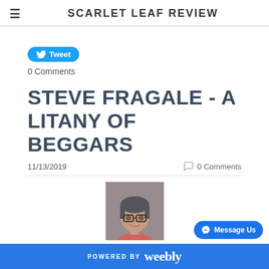SCARLET LEAF REVIEW
[Figure (other): Twitter Tweet button (blue rounded pill button with bird icon and 'Tweet' text)]
0 Comments
STEVE FRAGALE - A LITANY OF BEGGARS
11/13/2019
0 Comments
[Figure (photo): Portrait photo of a middle-aged man with glasses and grey-brown hair, wearing a pink/red shirt, slight smile]
[Figure (other): Messenger 'Message Us' button (blue rounded rectangle with messenger icon)]
POWERED BY weebly